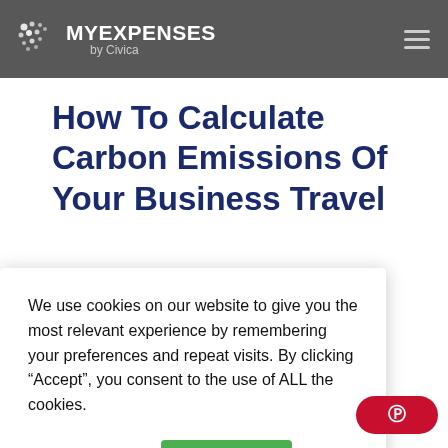MYEXEPNSES by Civica
How To Calculate Carbon Emissions Of Your Business Travel
The easiest way to measure the Carbon Emissions of All your Business Travel… Read More
We use cookies on our website to give you the most relevant experience by remembering your preferences and repeat visits. By clicking “Accept”, you consent to the use of ALL the cookies.
Cookie settings   ACCEPT